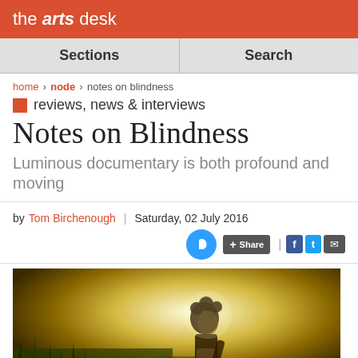the arts desk
Sections | Search
home > node > notes on blindness
reviews, news & interviews
Notes on Blindness
Luminous documentary is both profound and moving
by Tom Birchenough | Saturday, 02 July 2016
[Figure (photo): Silhouetted figure of a man with curly hair outdoors in golden backlight, surrounded by grass and bright sky]